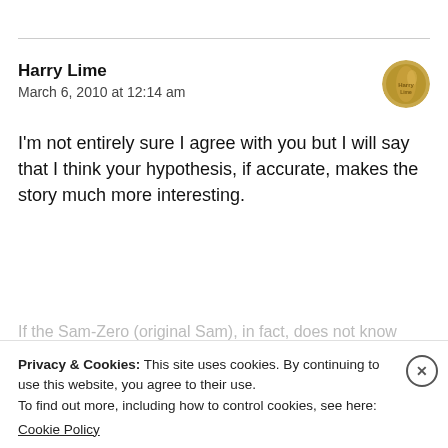Harry Lime
March 6, 2010 at 12:14 am
I'm not entirely sure I agree with you but I will say that I think your hypothesis, if accurate, makes the story much more interesting.
Privacy & Cookies: This site uses cookies. By continuing to use this website, you agree to their use.
To find out more, including how to control cookies, see here:
Cookie Policy
Close and accept